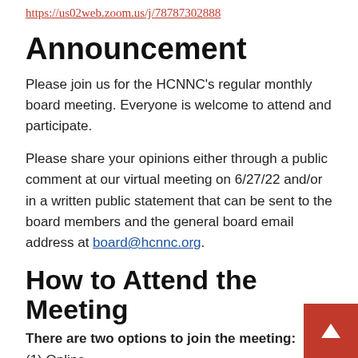https://us02web.zoom.us/j/78787302888
Announcement
Please join us for the HCNNC's regular monthly board meeting. Everyone is welcome to attend and participate.
Please share your opinions either through a public comment at our virtual meeting on 6/27/22 and/or in a written public statement that can be sent to the board members and the general board email address at board@hcnnc.org.
How to Attend the Meeting
There are two options to join the meeting:
(1) Online – https://us02web.zoom.us/j/96967302888
(2) Phone – Dial 1-888-475-4499. Then Enter This